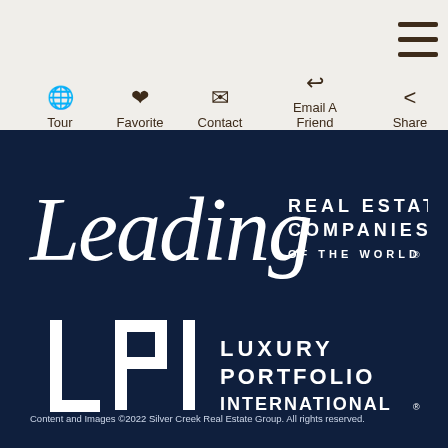Tour | Favorite | Contact | Email A Friend | Share
[Figure (logo): Leading Real Estate Companies of the World logo — script 'Leading' wordmark with 'REAL ESTATE COMPANIES OF THE WORLD' in spaced caps]
[Figure (logo): Luxury Portfolio International logo — LPI monogram with full brand name in spaced caps]
Content and Images ©2022 Silver Creek Real Estate Group. All rights reserved.